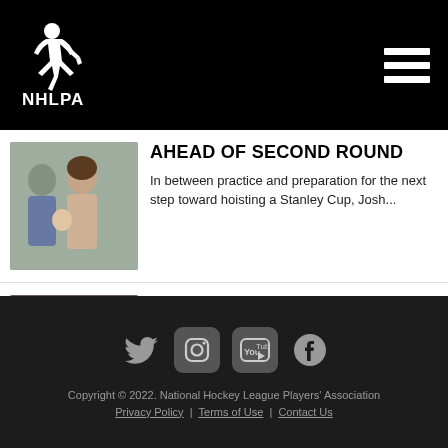NHLPA
[Figure (photo): Photo of a young family - man, woman, and baby]
AHEAD OF SECOND ROUND
In between practice and preparation for the next step toward hoisting a Stanley Cup, Josh...
[Figure (photo): Photo of two siblings - a young woman and young man posing together]
NEWHOOK SIBLINGS CREDIT COMPETITIVE NATURE TO...
When it comes to their hockey careers, siblings Abby and Alex Newhook are each other's biggest fans.
Copyright © 2022. National Hockey League Players' Association Privacy Policy | Terms of Use | Contact Us